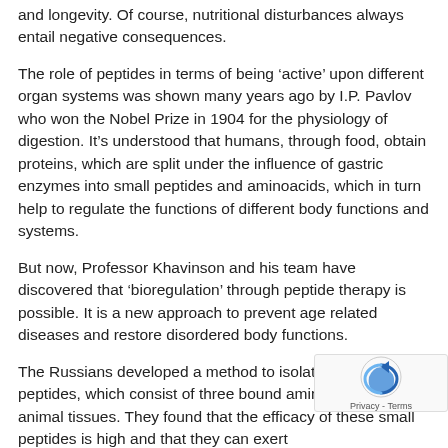and longevity. Of course, nutritional disturbances always entail negative consequences.
The role of peptides in terms of being ‘active’ upon different organ systems was shown many years ago by I.P. Pavlov who won the Nobel Prize in 1904 for the physiology of digestion. It’s understood that humans, through food, obtain proteins, which are split under the influence of gastric enzymes into small peptides and aminoacids, which in turn help to regulate the functions of different body functions and systems.
But now, Professor Khavinson and his team have discovered that ‘bioregulation’ through peptide therapy is possible. It is a new approach to prevent age related diseases and restore disordered body functions.
The Russians developed a method to isolate small peptides, which consist of three bound aminoacids, from animal tissues. They found that the efficacy of these small peptides is high and that they can exert